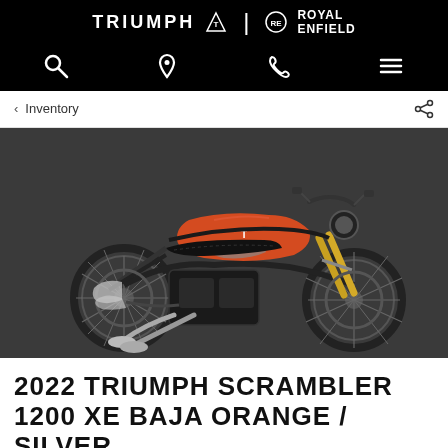TRIUMPH | ROYAL ENFIELD
< Inventory
[Figure (photo): 2022 Triumph Scrambler 1200 XE motorcycle in Baja Orange and Silver colorway, shown from the left side on a dark gray background]
2022 TRIUMPH SCRAMBLER 1200 XE BAJA ORANGE / SILVER